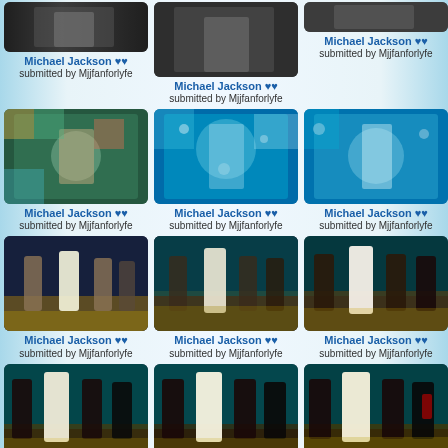[Figure (photo): Michael Jackson dancing - partial top crop]
Michael Jackson ♥♥
submitted by Mjjfanforlyfe
[Figure (photo): Michael Jackson dancing - partial top crop center]
Michael Jackson ♥♥
submitted by Mjjfanforlyfe
[Figure (photo): Michael Jackson dancing - partial top crop right]
Michael Jackson ♥♥
submitted by Mjjfanforlyfe
[Figure (photo): Michael Jackson Smooth Criminal dance scene]
Michael Jackson ♥♥
submitted by Mjjfanforlyfe
[Figure (photo): Michael Jackson Smooth Criminal dance scene center]
Michael Jackson ♥♥
submitted by Mjjfanforlyfe
[Figure (photo): Michael Jackson Smooth Criminal dance scene right]
Michael Jackson ♥♥
submitted by Mjjfanforlyfe
[Figure (photo): Michael Jackson Smooth Criminal white suit dance]
Michael Jackson ♥♥
submitted by Mjjfanforlyfe
[Figure (photo): Michael Jackson Smooth Criminal white suit dance center]
Michael Jackson ♥♥
submitted by Mjjfanforlyfe
[Figure (photo): Michael Jackson Smooth Criminal white suit dance right]
Michael Jackson ♥♥
submitted by Mjjfanforlyfe
[Figure (photo): Michael Jackson Smooth Criminal dance teal background]
Michael Jackson ♥♥
submitted by Mjjfanforlyfe
[Figure (photo): Michael Jackson Smooth Criminal dance teal center]
Michael Jackson ♥♥
submitted by Mjjfanforlyfe
[Figure (photo): Michael Jackson Smooth Criminal dance teal right]
Michael Jackson ♥♥
submitted by Mjjfanforlyfe
[Figure (screenshot): Support of Affidavit Concerning Criminal Conduct of Tom Sneddon - 2005 Michael Jackson Trial]
[Figure (photo): Michael Jackson with woman - photo]
[Figure (photo): Michael Jackson on stage dark background]